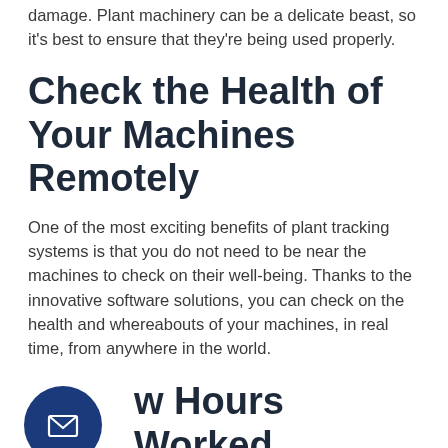damage. Plant machinery can be a delicate beast, so it's best to ensure that they're being used properly.
Check the Health of Your Machines Remotely
One of the most exciting benefits of plant tracking systems is that you do not need to be near the machines to check on their well-being. Thanks to the innovative software solutions, you can check on the health and whereabouts of your machines, in real time, from anywhere in the world.
w Hours Worked
[Figure (illustration): Dark blue circular button/icon with a white envelope/email symbol inside]
Additionally, not all plant tracking benefits are